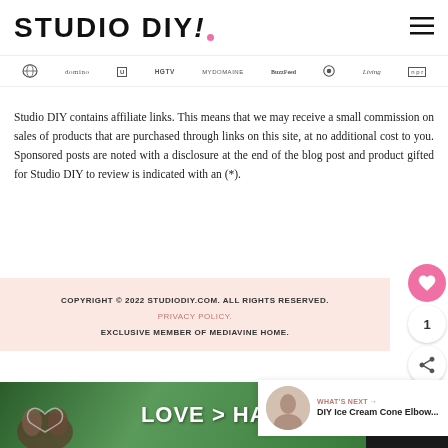STUDIO DIY!
[Figure (logo): Press logos: Today, domino, HGTV, MyDomaine, BuzzFeed, Living, npr and others]
Studio DIY contains affiliate links. This means that we may receive a small commission on sales of products that are purchased through links on this site, at no additional cost to you. Sponsored posts are noted with a disclosure at the end of the blog post and product gifted for Studio DIY to review is indicated with an (*).
COPYRIGHT © 2022 STUDIODIY.COM. ALL RIGHTS RESERVED.
PRIVACY POLICY.
EXCLUSIVE MEMBER OF MEDIAVINE HOME.
[Figure (infographic): What's Next panel: DIY Ice Cream Cone Elbow...]
[Figure (infographic): Advertisement banner: LOVE > HATE]